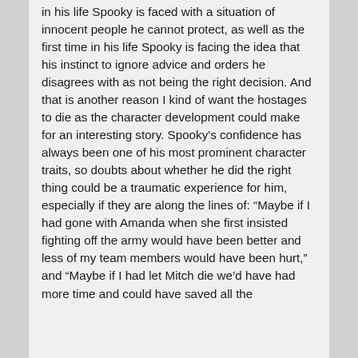in his life Spooky is faced with a situation of innocent people he cannot protect, as well as the first time in his life Spooky is facing the idea that his instinct to ignore advice and orders he disagrees with as not being the right decision. And that is another reason I kind of want the hostages to die as the character development could make for an interesting story. Spooky's confidence has always been one of his most prominent character traits, so doubts about whether he did the right thing could be a traumatic experience for him, especially if they are along the lines of: “Maybe if I had gone with Amanda when she first insisted fighting off the army would have been better and less of my team members would have been hurt,” and “Maybe if I had let Mitch die we’d have had more time and could have saved all the